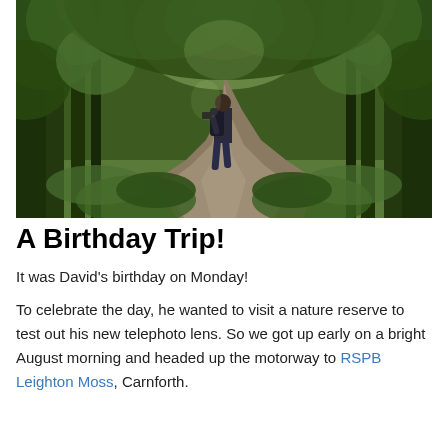[Figure (photo): A person with a backpack and camera walking along a shaded woodland path, surrounded by tall trees and lush green foliage on both sides.]
A Birthday Trip!
It was David's birthday on Monday!
To celebrate the day, he wanted to visit a nature reserve to test out his new telephoto lens. So we got up early on a bright August morning and headed up the motorway to RSPB Leighton Moss, Carnforth.